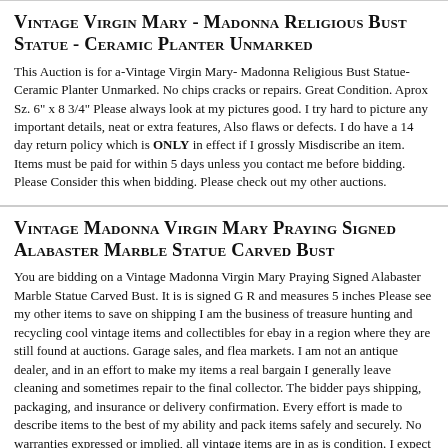Vintage Virgin Mary - Madonna Religious Bust Statue - Ceramic Planter Unmarked
This Auction is for a-Vintage Virgin Mary- Madonna Religious Bust Statue- Ceramic Planter Unmarked. No chips cracks or repairs. Great Condition. Aprox Sz. 6" x 8 3/4" Please always look at my pictures good. I try hard to picture any important details, neat or extra features, Also flaws or defects. I do have a 14 day return policy which is ONLY in effect if I grossly Misdiscribe an item. Items must be paid for within 5 days unless you contact me before bidding. Please Consider this when bidding. Please check out my other auctions.
Vintage Madonna Virgin Mary Praying Signed Alabaster Marble Statue Carved Bust
You are bidding on a Vintage Madonna Virgin Mary Praying Signed Alabaster Marble Statue Carved Bust. It is is signed G R and measures 5 inches Please see my other items to save on shipping I am the business of treasure hunting and recycling cool vintage items and collectibles for ebay in a region where they are still found at auctions. Garage sales, and flea markets. I am not an antique dealer, and in an effort to make my items a real bargain I generally leave cleaning and sometimes repair to the final collector. The bidder pays shipping, packaging, and insurance or delivery confirmation. Every effort is made to describe items to the best of my ability and pack items safely and securely. No warranties expressed or implied, all vintage items are in as is condition. I expect to be paid for merchandise 3 days of auction ending date. Please visit ... more